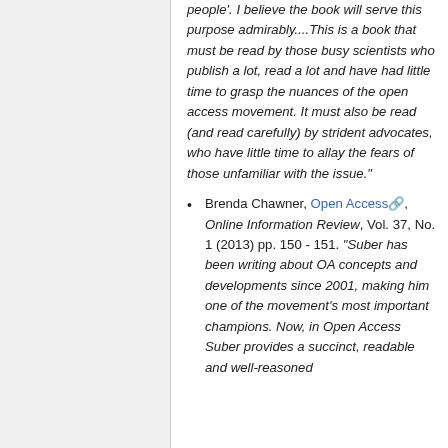people'. I believe the book will serve this purpose admirably....This is a book that must be read by those busy scientists who publish a lot, read a lot and have had little time to grasp the nuances of the open access movement. It must also be read (and read carefully) by strident advocates, who have little time to allay the fears of those unfamiliar with the issue."
Brenda Chawner, Open Access, Online Information Review, Vol. 37, No. 1 (2013) pp. 150 - 151. "Suber has been writing about OA concepts and developments since 2001, making him one of the movement's most important champions. Now, in Open Access Suber provides a succinct, readable and well-reasoned